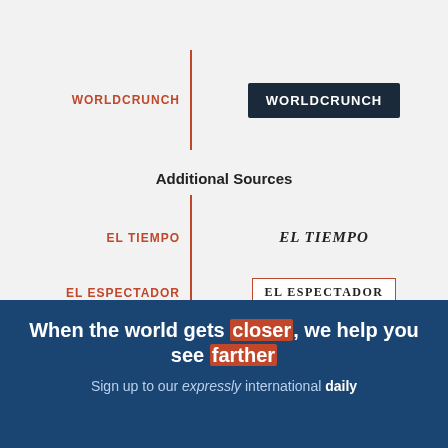[Figure (infographic): Brand logos with orange text labels: WORLDCRUNCH (dark navy box logo), EL TIEMPO (bold italic serif logo), EL ESPECTADOR (bordered serif logo). Each row has an orange vertical divider line separating the text label from the logo image.]
Additional Sources
When the world gets closer, we help you see farther
Sign up to our expressly international daily